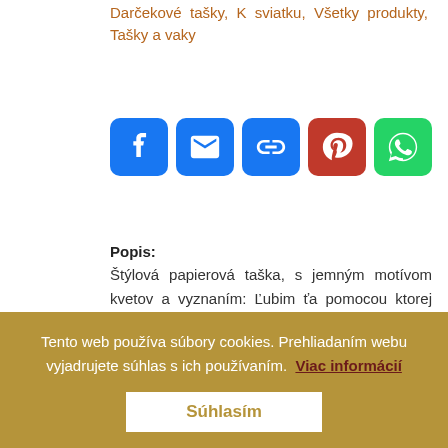Darčekové tašky, K sviatku, Všetky produkty, Tašky a vaky
[Figure (other): Row of 5 social sharing icon buttons: Facebook (blue), Email (blue), Link/Copy (blue), Pinterest (red), WhatsApp (green)]
Popis:
Štýlová papierová taška, s jemným motívom kvetov a vyznaním: Ľubim ťa pomocou ktorej vyjadríte city k milovanej osobe. Rozmermi 18x8x22 cm – je taška dostatočne veľká, aby ste do nej vložili súčasne: knihu štandardných rozmerov, čokoládu či pozdrav v jednom:)
Tento web používa súbory cookies. Prehliadaním webu vyjadrujete súhlas s ich používaním. Viac informácií